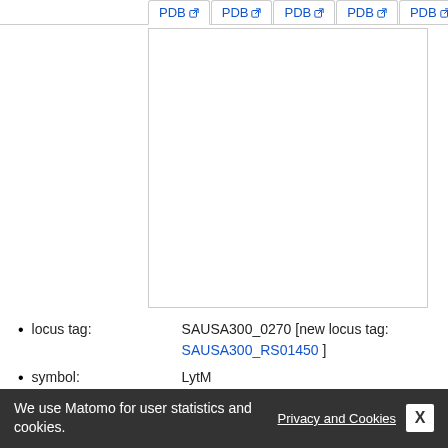[Figure (screenshot): Tab row showing multiple PDB tabs at top, with a large white empty PDB viewer panel below]
locus tag: SAUSA300_0270 [new locus tag: SAUSA300_RS01450 ]
symbol: LytM
description: peptidoglycan hydrolase
length: 316
theoretical: 6.63...
theoretical MW: 34316.3
GRAVY: -0.96462
We use Matomo for user statistics and cookies.
Privacy and Cookies  X